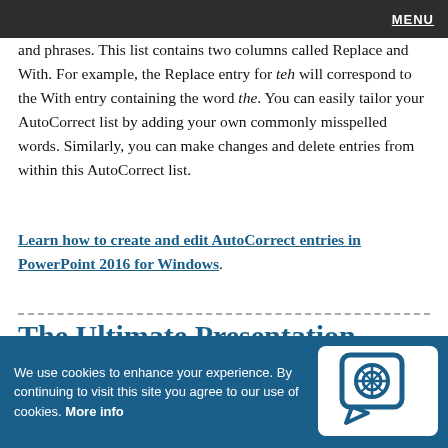MENU
and phrases. This list contains two columns called Replace and With. For example, the Replace entry for teh will correspond to the With entry containing the word the. You can easily tailor your AutoCorrect list by adding your own commonly misspelled words. Similarly, you can make changes and delete entries from within this AutoCorrect list.
Learn how to create and edit AutoCorrect entries in PowerPoint 2016 for Windows.
The Ultimate Presentation
Checklist/I f...b i l A d
We use cookies to enhance your experience. By continuing to visit this site you agree to our use of cookies. More info